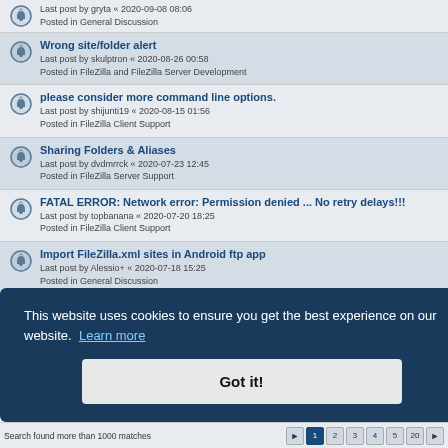Last post by gryta « 2020-09-08 08:06
Posted in General Discussion
Wrong site/folder alert
Last post by skulptron « 2020-08-26 00:58
Posted in FileZilla and FileZilla Server Development
please consider more command line options.
Last post by shijunti19 « 2020-08-15 01:56
Posted in FileZilla Client Support
Sharing Folders & Aliases
Last post by dvdmrrck « 2020-07-23 12:45
Posted in FileZilla Server Support
FATAL ERROR: Network error: Permission denied ... No retry delays!!!
Last post by topbanana « 2020-07-20 18:25
Posted in FileZilla Client Support
Import FileZilla.xml sites in Android ftp app
Last post by Alessio+ « 2020-07-18 15:25
Posted in General Discussion
Filezilla doesn't work with MacOS Big Sur Beta
This website uses cookies to ensure you get the best experience on our website. Learn more
Got it!
Search found more than 1000 matches  1  2  3  4  5  20